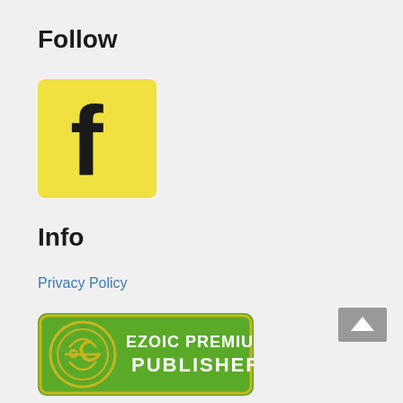Follow
[Figure (logo): Yellow Facebook icon with a bold lowercase 'f' in black]
Info
Privacy Policy
[Figure (logo): Ezoic Premium Publisher badge - green rounded rectangle with circular logo and white text]
[Figure (other): Grey scroll-to-top button in bottom right corner]